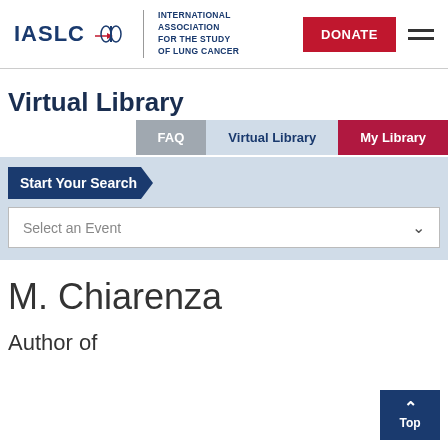IASLC | INTERNATIONAL ASSOCIATION FOR THE STUDY OF LUNG CANCER | DONATE
Virtual Library
FAQ | Virtual Library | My Library
Start Your Search
Select an Event
M. Chiarenza
Author of